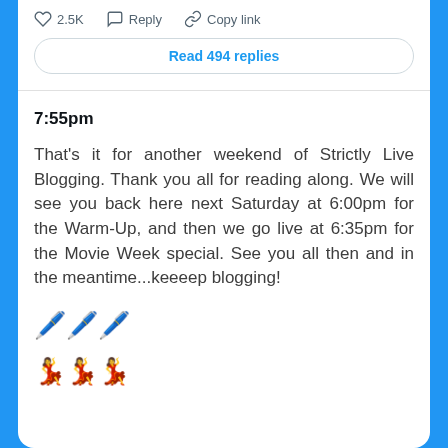[Figure (screenshot): Social media post action bar with heart icon showing 2.5K likes, reply icon, and copy link icon]
Read 494 replies
7:55pm
That's it for another weekend of Strictly Live Blogging. Thank you all for reading along. We will see you back here next Saturday at 6:00pm for the Warm-Up, and then we go live at 6:35pm for the Movie Week special. See you all then and in the meantime...keeeep blogging!
🖊️🖊️🖊️
💃💃💃